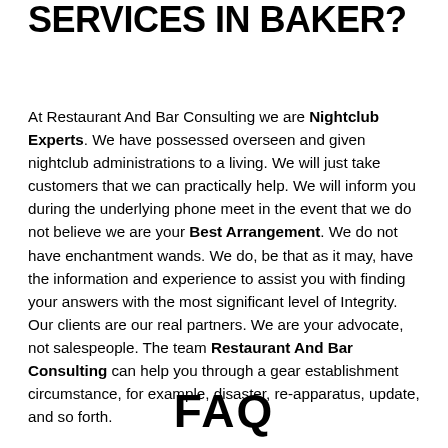SERVICES IN BAKER?
At Restaurant And Bar Consulting we are Nightclub Experts. We have possessed overseen and given nightclub administrations to a living. We will just take customers that we can practically help. We will inform you during the underlying phone meet in the event that we do not believe we are your Best Arrangement. We do not have enchantment wands. We do, be that as it may, have the information and experience to assist you with finding your answers with the most significant level of Integrity. Our clients are our real partners. We are your advocate, not salespeople. The team Restaurant And Bar Consulting can help you through a gear establishment circumstance, for example, disaster, re-apparatus, update, and so forth.
FAQ